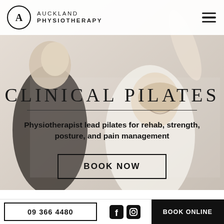[Figure (logo): Auckland Physiotherapy logo with circle and letter A]
[Figure (photo): Two women doing pilates exercise, one instructor guiding the other, black and white/muted photo background]
CLINICAL PILATES
Physiotherapist lead pilates for rehab, strength, posture, and pain management
BOOK NOW
09 366 4480   BOOK ONLINE